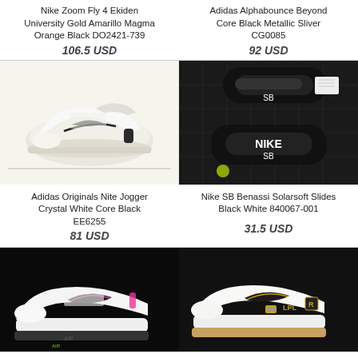Nike Zoom Fly 4 Ekiden University Gold Amarillo Magma Orange Black DO2421-739
106.5 USD
Adidas Alphabounce Beyond Core Black Metallic Sliver CG0085
92 USD
[Figure (photo): Adidas Originals Nite Jogger white sneaker on white background]
[Figure (photo): Nike SB Benassi Solarsoft Slides black sandals on dark grid background]
Adidas Originals Nite Jogger Crystal White Core Black EE6255
81 USD
Nike SB Benassi Solarsoft Slides Black White 840067-001
31.5 USD
[Figure (photo): White Nike Air Force 1 sneaker with black swoosh and pink accent]
[Figure (photo): White Nike Air Force 1 sneaker with gold LPL branding on dark background]